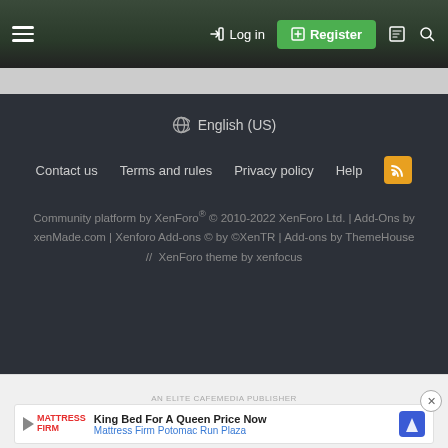Log in | Register
🌐 English (US)
Contact us   Terms and rules   Privacy policy   Help
Community platform by XenForo® © 2010-2022 XenForo Ltd. | Add-Ons by xenMade.com | Xenforo Add-ons © by ©XenTR | Add-ons by ThemeHouse // XenForo theme by xenfocus
Forums  What's New  Log In  Register  Search
[Figure (screenshot): Advertisement banner: King Bed For A Queen Price Now - Mattress Firm Potomac Run Plaza]